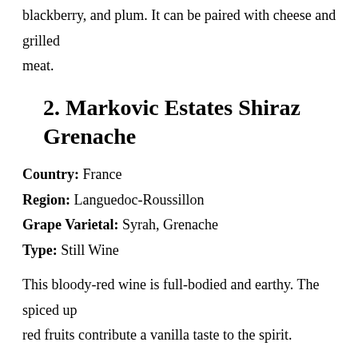blackberry, and plum. It can be paired with cheese and grilled meat.
2. Markovic Estates Shiraz Grenache
Country: France
Region: Languedoc-Roussillon
Grape Varietal: Syrah, Grenache
Type: Still Wine
This bloody-red wine is full-bodied and earthy. The spiced up red fruits contribute a vanilla taste to the spirit.